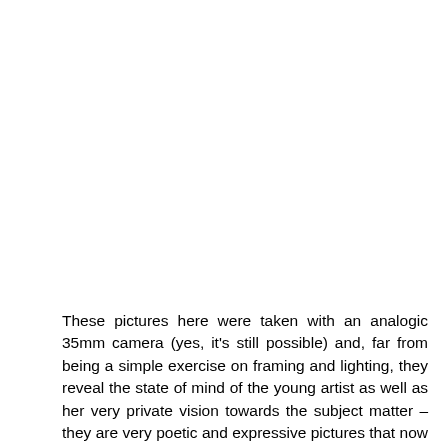These pictures here were taken with an analogic 35mm camera (yes, it's still possible) and, far from being a simple exercise on framing and lighting, they reveal the state of mind of the young artist as well as her very private vision towards the subject matter – they are very poetic and expressive pictures that now were in the hands of one single person. And the way the pictures relate to the film is truly impressive. Continues the director...